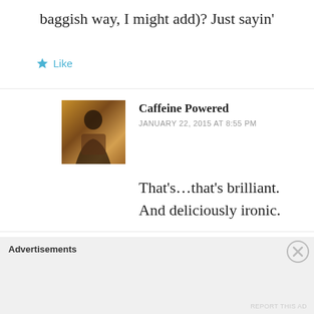baggish way, I might add)? Just sayin'
Like
Caffeine Powered
JANUARY 22, 2015 AT 8:55 PM
That's…that's brilliant. And deliciously ironic.
Like
[Figure (photo): Avatar photo of commenter Caffeine Powered, showing a person against a dark/sunset background]
HighWireNickEsasky
JANUARY 22, 2015 AT 8:05 PM
[Figure (logo): Blue square avatar with white power button icon for HighWireNickEsasky]
Advertisements